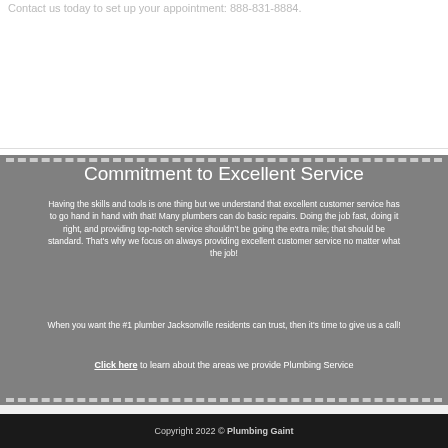Contact us today to set up your appointment: 888-831-8884.
Commitment to Excellent Service
Having the skills and tools is one thing but we understand that excellent customer service has to go hand in hand with that! Many plumbers can do basic repairs. Doing the job fast, doing it right, and providing top-notch service shouldn't be going the extra mile; that should be standard. That's why we focus on always providing excellent customer service no matter what the job!
When you want the #1 plumber Jacksonville residents can trust, then it's time to give us a call!
Click here to learn about the areas we provide Plumbing Service
HOME  WORK WITH US  CONTACT  PRIVACY  TERMS OF SERVICE
Copyright 2022 © Plumbing Gaint